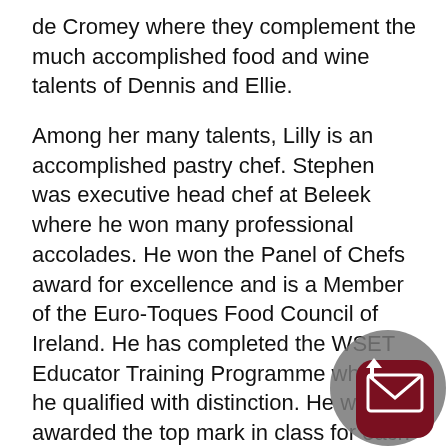de Cromey where they complement the much accomplished food and wine talents of Dennis and Ellie.
Among her many talents, Lilly is an accomplished pastry chef. Stephen was executive head chef at Beleek where he won many professional accolades. He won the Panel of Chefs award for excellence and is a Member of the Euro-Toques Food Council of Ireland. He has completed the WSET Educator Training Programme where he qualified with distinction. He was awarded the top mark in class for each of the three WSET (Wine Sprits Education Trust) levels. Stephen is now teaching in the Wine School at Domaine de Cromey.
[Figure (other): Gray circular overlay with an upward arrow and a dark red rounded square mail/envelope button in the bottom right corner of the page]